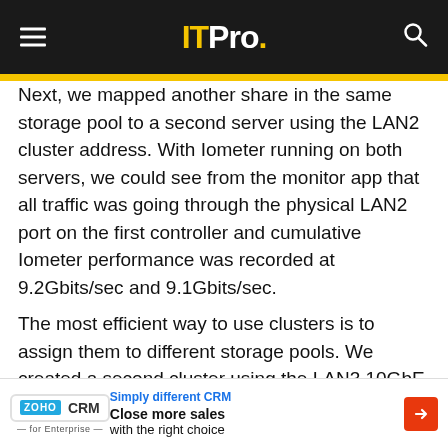ITPro.
Next, we mapped another share in the same storage pool to a second server using the LAN2 cluster address. With Iometer running on both servers, we could see from the monitor app that all traffic was going through the physical LAN2 port on the first controller and cumulative Iometer performance was recorded at 9.2Gbits/sec and 9.1Gbits/sec.
The most efficient way to use clusters is to assign them to different storage pools. We created a second cluster using the LAN3 10GbE ports on both controllers and with the servers mapped to dedicated clusters and pools, we recorded
[Figure (other): ZOHO CRM advertisement banner: 'Simply different CRM — Close more sales with the right choice']